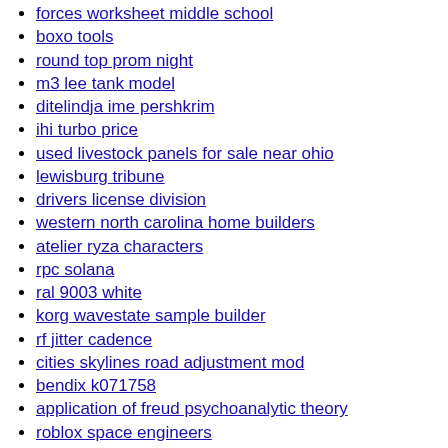forces worksheet middle school
boxo tools
round top prom night
m3 lee tank model
ditelindja ime pershkrim
ihi turbo price
used livestock panels for sale near ohio
lewisburg tribune
drivers license division
western north carolina home builders
atelier ryza characters
rpc solana
ral 9003 white
korg wavestate sample builder
rf jitter cadence
cities skylines road adjustment mod
bendix k071758
application of freud psychoanalytic theory
roblox space engineers
live renko charts indicator for mt5
hunting trader
large geode quartz
bad boy vs spartan mowers
case pocket knife sets
jayco class action lawsuit